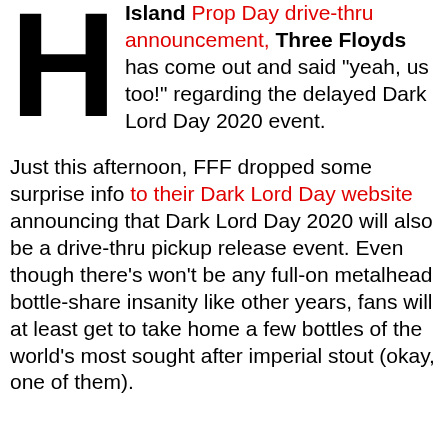Island Prop Day drive-thru announcement, Three Floyds has come out and said "yeah, us too!" regarding the delayed Dark Lord Day 2020 event.
Just this afternoon, FFF dropped some surprise info to their Dark Lord Day website announcing that Dark Lord Day 2020 will also be a drive-thru pickup release event. Even though there's won't be any full-on metalhead bottle-share insanity like other years, fans will at least get to take home a few bottles of the world's most sought after imperial stout (okay, one of them).